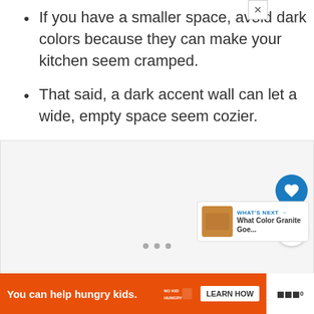If you have a smaller space, avoid dark colors because they can make your kitchen seem cramped.
That said, a dark accent wall can let a wide, empty space seem cozier.
[Figure (screenshot): A photo/image placeholder with UI overlay elements: a blue heart button, a white share button, a 'What's Next' card showing 'What Color Granite Goe...' with a thumbnail, and three pagination dots.]
[Figure (screenshot): Advertisement banner: orange background, 'You can help hungry kids.' text, No Kid Hungry logo, Learn How button, close X button, and mute icon.]